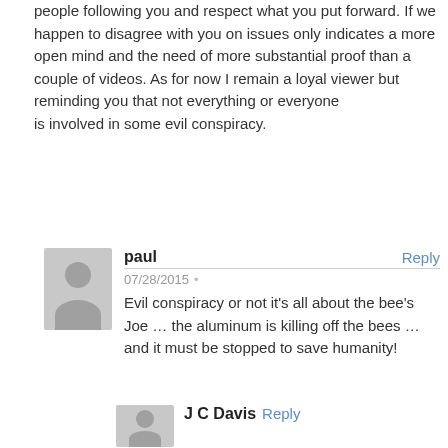people following you and respect what you put forward. If we happen to disagree with you on issues only indicates a more open mind and the need of more substantial proof than a couple of videos. As for now I remain a loyal viewer but reminding you that not everything or everyone
is involved in some evil conspiracy.
paul
07/28/2015 •
Evil conspiracy or not it's all about the bee's Joe … the aluminum is killing off the bees … and it must be stopped to save humanity!
J C Davis Reply